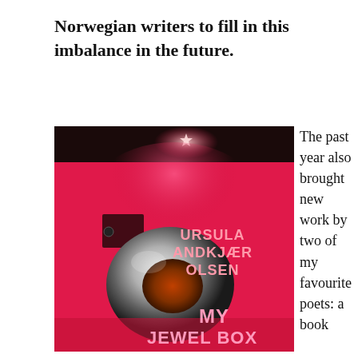Norwegian writers to fill in this imbalance in the future.
[Figure (photo): Book cover of 'My Jewel Box' by Ursula Andkjær Olsen. Hot pink/magenta background with a large spherical silver object in the center. Text on cover reads: URSULA ANDKJÆR OLSEN and MY JEWEL BOX. Dark top portion with a star-like light.]
The past year also brought new work by two of my favourite poets: a book